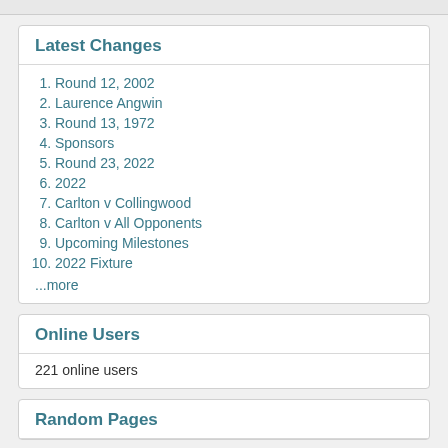Latest Changes
Round 12, 2002
Laurence Angwin
Round 13, 1972
Sponsors
Round 23, 2022
2022
Carlton v Collingwood
Carlton v All Opponents
Upcoming Milestones
2022 Fixture
...more
Online Users
221 online users
Random Pages